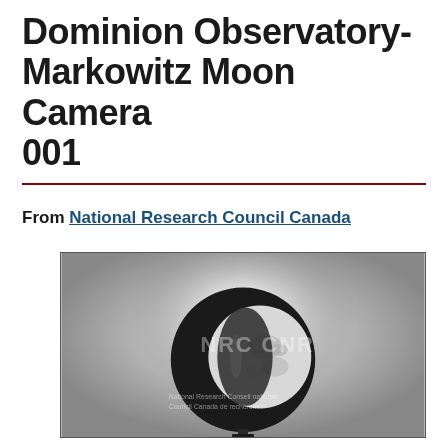Dominion Observatory-Markowitz Moon Camera 001
From National Research Council Canada
[Figure (photo): Black and white archival photograph showing the Moon through a circular aperture or camera lens element. The Moon appears as a crescent/gibbous phase against a bright halo background. A watermark reads 'NRC CNR' and text 'National Research Council Canada / Conseil national de recherches Canada' is visible on the image.]